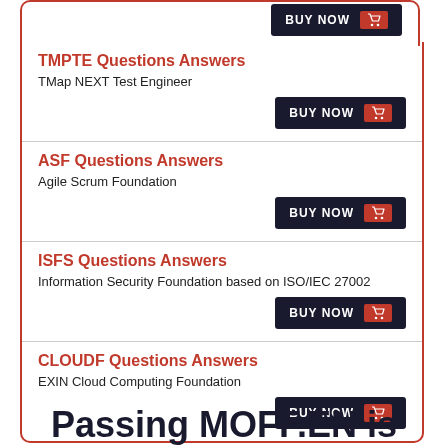TMPTE Questions Answers
TMap NEXT Test Engineer
ASF Questions Answers
Agile Scrum Foundation
ISFS Questions Answers
Information Security Foundation based on ISO/IEC 27002
CLOUDF Questions Answers
EXIN Cloud Computing Foundation
Passing MOFF.EN is